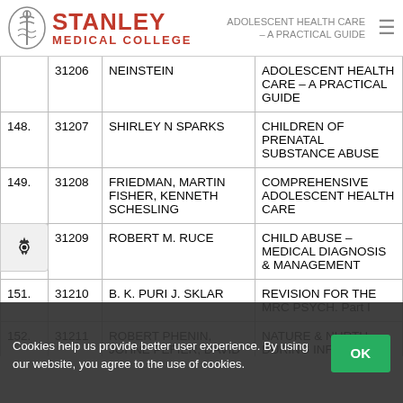STANLEY MEDICAL COLLEGE | ADOLESCENT HEALTH CARE – A PRACTICAL GUIDE
| No. | Acc. | Author | Title |
| --- | --- | --- | --- |
|  | 31206 | NEINSTEIN | ADOLESCENT HEALTH CARE – A PRACTICAL GUIDE |
| 148. | 31207 | SHIRLEY N SPARKS | CHILDREN OF PRENATAL SUBSTANCE ABUSE |
| 149. | 31208 | FRIEDMAN, MARTIN FISHER, KENNETH SCHESLING | COMPREHENSIVE ADOLESCENT HEALTH CARE |
| 150. | 31209 | ROBERT M. RUCE | CHILD ABUSE – MEDICAL DIAGNOSIS & MANAGEMENT |
| 151. | 31210 | B. K. PURI J. SKLAR | REVISION FOR THE MRC PSYCH. Part I |
| 152. | 31211 | ROBERT PHENIN, JOHNE PEFIER, DAVID W FULKER | NATURE & NURTU… DURING INF… EARLY CHIL…. |
Cookies help us provide better user experience. By using our website, you agree to the use of cookies.